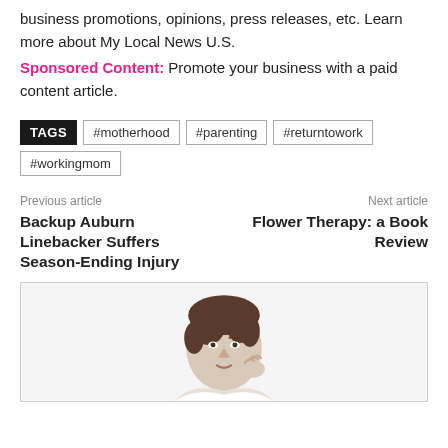business promotions, opinions, press releases, etc. Learn more about My Local News U.S.
Sponsored Content: Promote your business with a paid content article.
TAGS #motherhood #parenting #returntowork #workingmom
Previous article
Backup Auburn Linebacker Suffers Season-Ending Injury
Next article
Flower Therapy: a Book Review
[Figure (photo): Photo of a woman with short dark hair posing with hand near face, smiling slightly, against a white background]